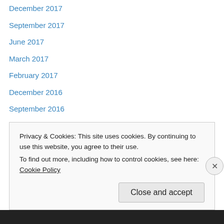December 2017
September 2017
June 2017
March 2017
February 2017
December 2016
September 2016
August 2016
March 2016
January 2016
December 2015
November 2015
September 2015
Privacy & Cookies: This site uses cookies. By continuing to use this website, you agree to their use.
To find out more, including how to control cookies, see here: Cookie Policy
Close and accept